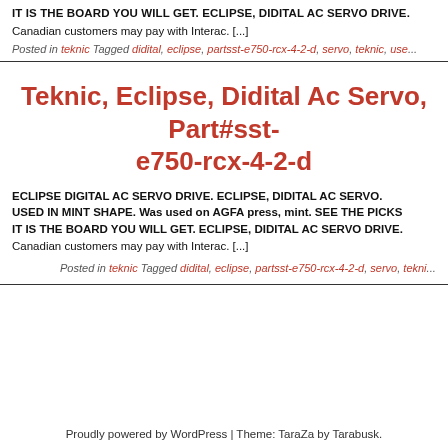IT IS THE BOARD YOU WILL GET. ECLIPSE, DIDITAL AC SERVO DRIVE.
Canadian customers may pay with Interac. [...]
Posted in teknic Tagged didital, eclipse, partsst-e750-rcx-4-2-d, servo, teknic, use...
Teknic, Eclipse, Didital Ac Servo, Part#sst-e750-rcx-4-2-d
ECLIPSE DIGITAL AC SERVO DRIVE. ECLIPSE, DIDITAL AC SERVO. USED IN MINT SHAPE. Was used on AGFA press, mint. SEE THE PICKS IT IS THE BOARD YOU WILL GET. ECLIPSE, DIDITAL AC SERVO DRIVE. Canadian customers may pay with Interac. [...]
Posted in teknic Tagged didital, eclipse, partsst-e750-rcx-4-2-d, servo, tekni...
Proudly powered by WordPress | Theme: TaraZa by Tarabusk.